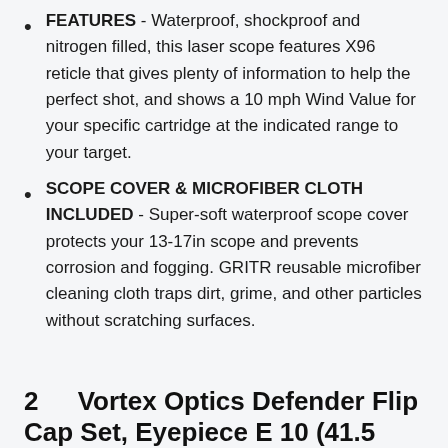FEATURES - Waterproof, shockproof and nitrogen filled, this laser scope features X96 reticle that gives plenty of information to help the perfect shot, and shows a 10 mph Wind Value for your specific cartridge at the indicated range to your target.
SCOPE COVER & MICROFIBER CLOTH INCLUDED - Super-soft waterproof scope cover protects your 13-17in scope and prevents corrosion and fogging. GRITR reusable microfiber cleaning cloth traps dirt, grime, and other particles without scratching surfaces.
2   Vortex Optics Defender Flip Cap Set, Eyepiece E 10 (41.5